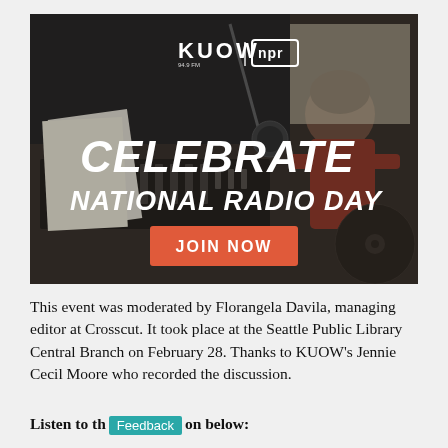[Figure (illustration): KUOW NPR advertisement banner showing a vintage radio studio scene with a person at a mixing board. Text overlay reads 'CELEBRATE NATIONAL RADIO DAY' with a red 'JOIN NOW' button. KUOW and NPR logos in top center.]
This event was moderated by Florangela Davila, managing editor at Crosscut. It took place at the Seattle Public Library Central Branch on February 28. Thanks to KUOW's Jennie Cecil Moore who recorded the discussion.
Listen to the discussion below: